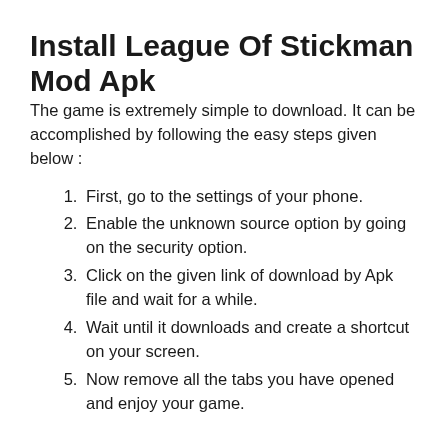Install League Of Stickman Mod Apk
The game is extremely simple to download. It can be accomplished by following the easy steps given below :
First, go to the settings of your phone.
Enable the unknown source option by going on the security option.
Click on the given link of download by Apk file and wait for a while.
Wait until it downloads and create a shortcut on your screen.
Now remove all the tabs you have opened and enjoy your game.